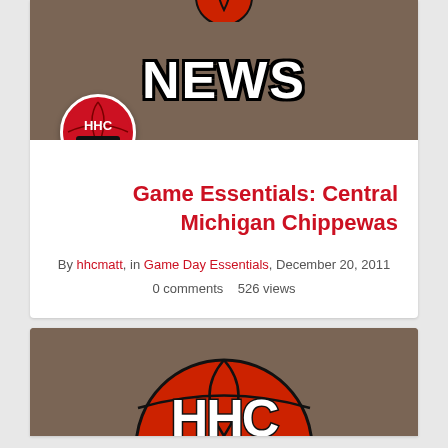[Figure (illustration): Basketball news banner with brown background and large white bold text reading NEWS with a basketball icon at top and HHC MATT avatar circle at bottom left]
Game Essentials: Central Michigan Chippewas
By hhcmatt, in Game Day Essentials, December 20, 2011
0 comments   526 views
[Figure (illustration): Second banner with brown background showing a large red basketball and the beginning of HHC logo text at the bottom]